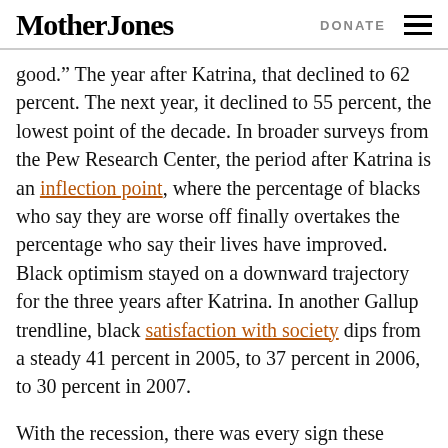Mother Jones | DONATE
good.” The year after Katrina, that declined to 62 percent. The next year, it declined to 55 percent, the lowest point of the decade. In broader surveys from the Pew Research Center, the period after Katrina is an inflection point, where the percentage of blacks who say they are worse off finally overtakes the percentage who say their lives have improved. Black optimism stayed on a downward trajectory for the three years after Katrina. In another Gallup trendline, black satisfaction with society dips from a steady 41 percent in 2005, to 37 percent in 2006, to 30 percent in 2007.
With the recession, there was every sign these trends would continue. But then Barack Oba...